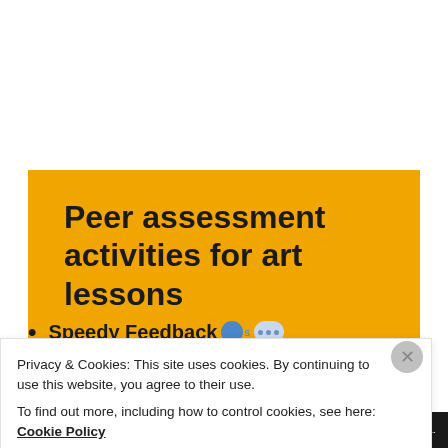Peer assessment activities for art lessons
Speedy Feedback
Privacy & Cookies: This site uses cookies. By continuing to use this website, you agree to their use. To find out more, including how to control cookies, see here: Cookie Policy